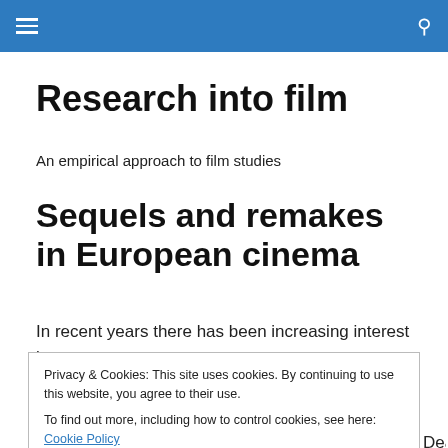≡  🔍
Research into film
An empirical approach to film studies
Sequels and remakes in European cinema
In recent years there has been increasing interest in
Privacy & Cookies: This site uses cookies. By continuing to use this website, you agree to their use.
To find out more, including how to control cookies, see here: Cookie Policy
Close and accept
(1998) and Jennifer Forrest and Leonard R. Kass's Dead